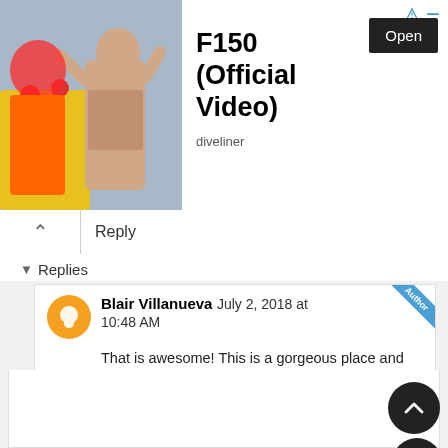[Figure (screenshot): Advertisement banner for 'F150 (Official Video)' by diveliner, showing a man in front of a clown, with an Open button]
Reply
▾ Replies
Blair Villanueva  July 2, 2018 at 10:48 AM
That is awesome! This is a gorgeous place and never mind the media.
Anonymous  June 29, 2018 at 11:29 PM
I only know Guadalajara from the song, "Guadalajara" but man it looks beautiful- I a just familiar with Cancun and Riviera Maya. Gl your friend enjoyed. The Agave field in that one picture looks just majestic.